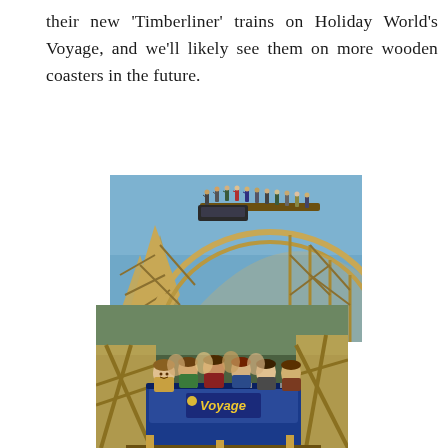their new 'Timberliner' trains on Holiday World's Voyage, and we'll likely see them on more wooden coasters in the future.
[Figure (photo): Top photo: Wooden roller coaster structure (the Voyage at Holiday World) with riders at the top of a hill, visible wooden lattice support structure against a blue sky.]
[Figure (photo): Bottom photo: Close-up of riders in the front car of the Voyage roller coaster, with 'Voyage' branding visible on the blue car, wooden track structure surrounding them.]